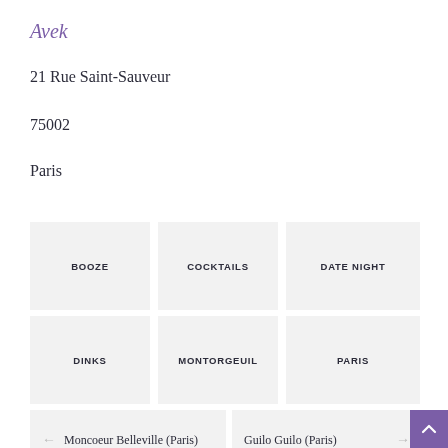Avek
21 Rue Saint-Sauveur
75002
Paris
BOOZE
COCKTAILS
DATE NIGHT
DINKS
MONTORGEUIL
PARIS
← Moncoeur Belleville (Paris)
Guilo Guilo (Paris) →